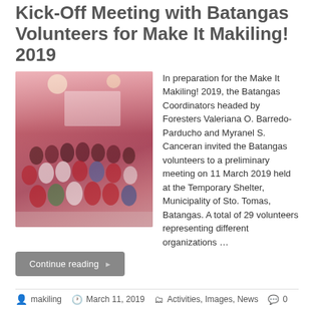Kick-Off Meeting with Batangas Volunteers for Make It Makiling! 2019
[Figure (photo): Group photo of Batangas volunteers at a preliminary meeting held at the Temporary Shelter, Municipality of Sto. Tomas, Batangas on 11 March 2019. A large group of people posing indoors with a pink-lit room and a projection screen in the background.]
In preparation for the Make It Makiling! 2019, the Batangas Coordinators headed by Foresters Valeriana O. Barredo-Parducho and Myranel S. Canceran invited the Batangas volunteers to a preliminary meeting on 11 March 2019 held at the Temporary Shelter, Municipality of Sto. Tomas, Batangas. A total of 29 volunteers representing different organizations …
Continue reading ▸
makiling   March 11, 2019   Activities, Images, News   0